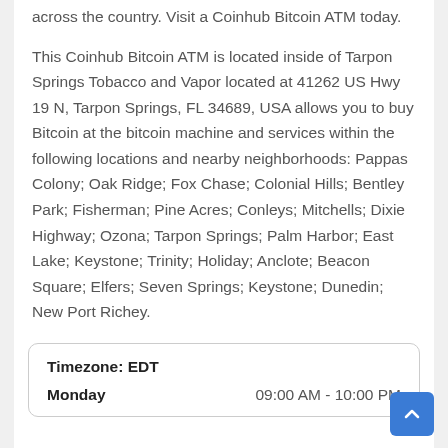across the country. Visit a Coinhub Bitcoin ATM today.
This Coinhub Bitcoin ATM is located inside of Tarpon Springs Tobacco and Vapor located at 41262 US Hwy 19 N, Tarpon Springs, FL 34689, USA allows you to buy Bitcoin at the bitcoin machine and services within the following locations and nearby neighborhoods: Pappas Colony; Oak Ridge; Fox Chase; Colonial Hills; Bentley Park; Fisherman; Pine Acres; Conleys; Mitchells; Dixie Highway; Ozona; Tarpon Springs; Palm Harbor; East Lake; Keystone; Trinity; Holiday; Anclote; Beacon Square; Elfers; Seven Springs; Keystone; Dunedin; New Port Richey.
| Timezone: EDT |  |
| --- | --- |
| Monday | 09:00 AM - 10:00 PM |